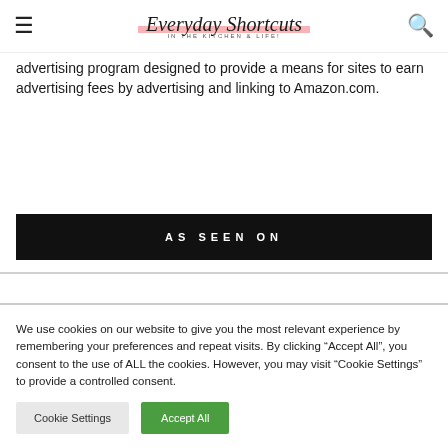Everyday Shortcuts — IN THE KITCHEN & LIFE!
advertising program designed to provide a means for sites to earn advertising fees by advertising and linking to Amazon.com.
AS SEEN ON
We use cookies on our website to give you the most relevant experience by remembering your preferences and repeat visits. By clicking "Accept All", you consent to the use of ALL the cookies. However, you may visit "Cookie Settings" to provide a controlled consent.